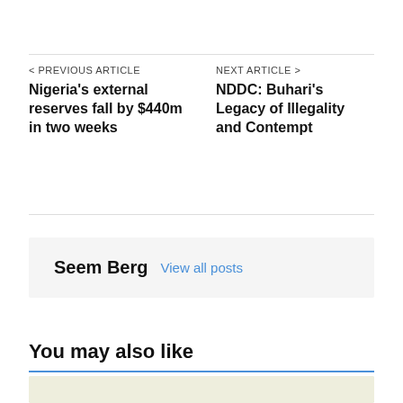< PREVIOUS ARTICLE
Nigeria's external reserves fall by $440m in two weeks
NEXT ARTICLE >
NDDC: Buhari's Legacy of Illegality and Contempt
Seem Berg  View all posts
You may also like
[Figure (photo): Photograph of three men wearing traditional Nigerian caps/hats, cropped at shoulders showing their faces]